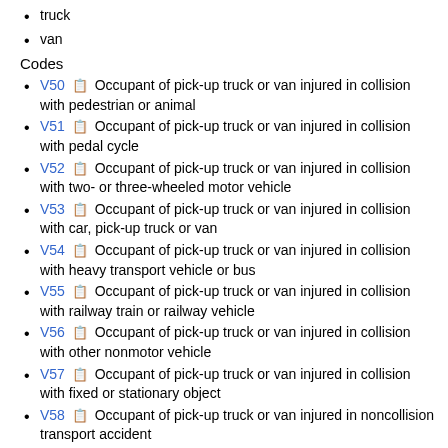truck
van
Codes
V50 Occupant of pick-up truck or van injured in collision with pedestrian or animal
V51 Occupant of pick-up truck or van injured in collision with pedal cycle
V52 Occupant of pick-up truck or van injured in collision with two- or three-wheeled motor vehicle
V53 Occupant of pick-up truck or van injured in collision with car, pick-up truck or van
V54 Occupant of pick-up truck or van injured in collision with heavy transport vehicle or bus
V55 Occupant of pick-up truck or van injured in collision with railway train or railway vehicle
V56 Occupant of pick-up truck or van injured in collision with other nonmotor vehicle
V57 Occupant of pick-up truck or van injured in collision with fixed or stationary object
V58 Occupant of pick-up truck or van injured in noncollision transport accident
V59 Occupant of pick-up truck or van injured in other and unspecified transport accidents